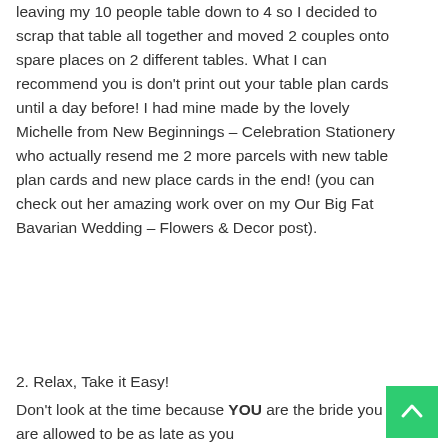leaving my 10 people table down to 4 so I decided to scrap that table all together and moved 2 couples onto spare places on 2 different tables. What I can recommend you is don't print out your table plan cards until a day before! I had mine made by the lovely Michelle from New Beginnings – Celebration Stationery who actually resend me 2 more parcels with new table plan cards and new place cards in the end! (you can check out her amazing work over on my Our Big Fat Bavarian Wedding – Flowers & Decor post).
2. Relax, Take it Easy!
Don't look at the time because YOU are the bride you are allowed to be as late as you